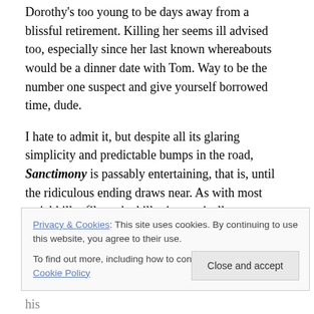Dorothy's too young to be days away from a blissful retirement. Killing her seems ill advised too, especially since her last known whereabouts would be a dinner date with Tom. Way to be the number one suspect and give yourself borrowed time, dude.
I hate to admit it, but despite all its glaring simplicity and predictable bumps in the road, Sanctimony is passably entertaining, that is, until the ridiculous ending draws near. As with most serial killer films, the killer is practically a super being with an agenda. Except, in Sanctimony, Boll doesn't even give his vengeful hand of God an agenda but
Privacy & Cookies: This site uses cookies. By continuing to use this website, you agree to their use. To find out more, including how to control cookies, see here: Cookie Policy
from earlier and makes little to no sense. What was his